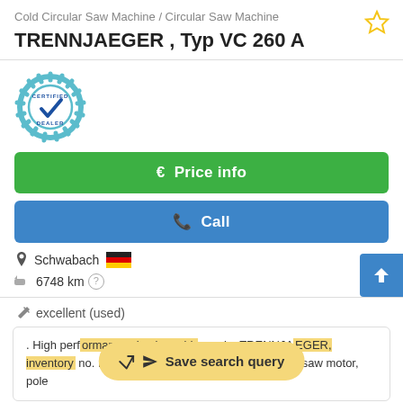Cold Circular Saw Machine / Circular Saw Machine
TRENNJAEGER , Typ VC 260 A
[Figure (logo): Certified Dealer badge - circular gear shape with teal color, checkmark inside, text CERTIFIED DEALER]
€ Price info
✆ Call
Schwabach [German flag]
6748 km ?
excellent (used)
. High perf[ormance circular cold] , make TRENNJA[EGER, inventory] no. HF 2903 . B38w88opq Technical data : saw motor, pole